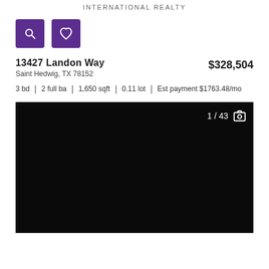INTERNATIONAL REALTY
[Figure (screenshot): Two purple icon buttons: a magnifying glass (search) and a heart (favorite)]
13427 Landon Way
$328,504
Saint Hedwig, TX 78152
3 bd | 2 full ba | 1,650 sqft | 0.11 lot | Est payment $1763.48/mo
[Figure (photo): Property photo thumbnail showing dark/black image, with counter '1 / 43' and camera icon in top right]